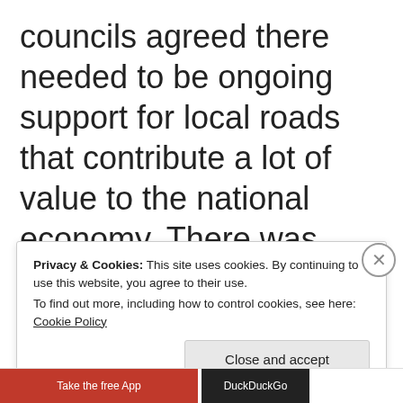councils agreed there needed to be ongoing support for local roads that contribute a lot of value to the national economy. There was strong opposition to the Minister’s prioritising so called ‘Roads of National Significance’.
Privacy & Cookies: This site uses cookies. By continuing to use this website, you agree to their use.
To find out more, including how to control cookies, see here: Cookie Policy
Close and accept